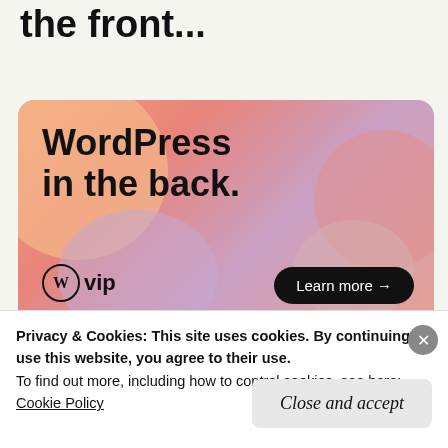the front...
[Figure (illustration): WordPress VIP advertisement banner with gradient orange-pink-purple background, large text 'WordPress in the back.', WordPress VIP logo on bottom left, and a 'Learn more →' dark pill button on bottom right.]
REPORT THIS AD
Nicole @whatadifferenceawordmakes / May 11, 2019 / Bookish Finds / Book blog, Book Haul, Bookish Finds, Fiction, Hallie Rubonhold, Mary Beard, Non-Fiction, Rachel
Privacy & Cookies: This site uses cookies. By continuing to use this website, you agree to their use.
To find out more, including how to control cookies, see here: Cookie Policy
Close and accept